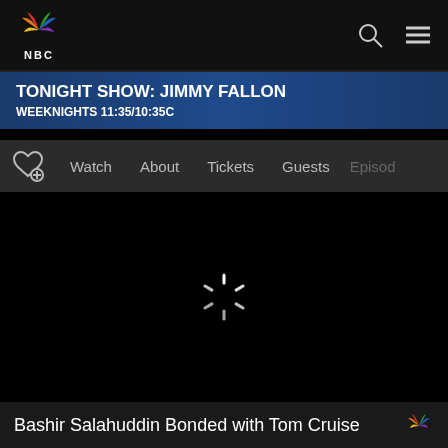[Figure (logo): NBC peacock logo with colorful feathers and NBC text below]
TONIGHT SHOW: JIMMY FALLON
WEEKNIGHTS 11:35/10:35c
Watch  About  Tickets  Guests  Episod
[Figure (screenshot): Black video player area with loading spinner]
Bashir Salahuddin Bonded with Tom Cruise